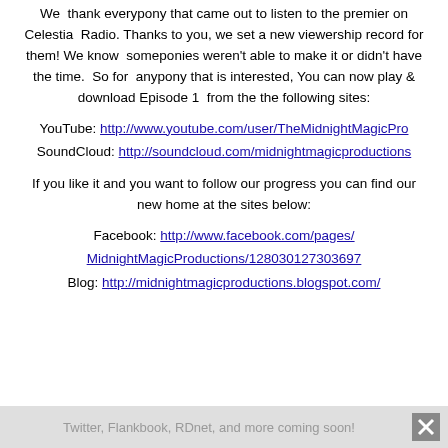We thank everypony that came out to listen to the premier on Celestia Radio. Thanks to you, we set a new viewership record for them! We know someponies weren't able to make it or didn't have the time. So for anypony that is interested, You can now play & download Episode 1 from the the following sites:
YouTube: http://www.youtube.com/user/TheMidnightMagicPro
SoundCloud: http://soundcloud.com/midnightmagicproductions
If you like it and you want to follow our progress you can find our new home at the sites below:
Facebook: http://www.facebook.com/pages/MidnightMagicProductions/128030127303697
Blog: http://midnightmagicproductions.blogspot.com/
Twitter, Flankbook, RDnet, and more coming soon!